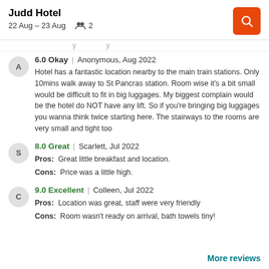Judd Hotel
22 Aug – 23 Aug   2
Hotel has a fantastic location nearby to the main train stations. Only 10mins walk away to St Pancras station. Room wise it's a bit small would be difficult to fit in big luggages. My biggest complain would be the hotel do NOT have any lift. So if you're bringing big luggages you wanna think twice starting here. The stairways to the rooms are very small and tight too
8.0 Great | Scarlett, Jul 2022
Pros: Great little breakfast and location.
Cons: Price was a little high.
9.0 Excellent | Colleen, Jul 2022
Pros: Location was great, staff were very friendly
Cons: Room wasn't ready on arrival, bath towels tiny!
More reviews